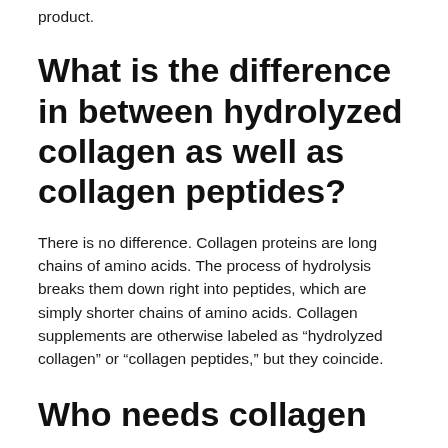product.
What is the difference in between hydrolyzed collagen as well as collagen peptides?
There is no difference. Collagen proteins are long chains of amino acids. The process of hydrolysis breaks them down right into peptides, which are simply shorter chains of amino acids. Collagen supplements are otherwise labeled as “hydrolyzed collagen” or “collagen peptides,” but they coincide.
Who needs collagen